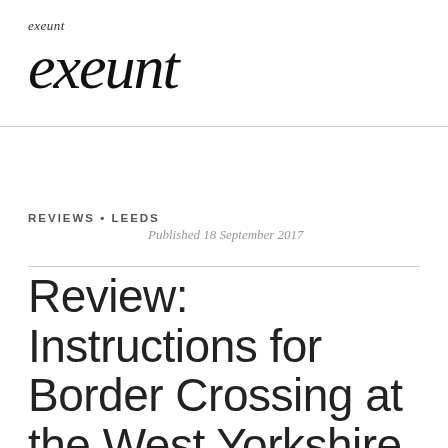exeunt
exeunt
REVIEWS • LEEDS
Published 18 September 2017
Review: Instructions for Border Crossing at the West Yorkshire